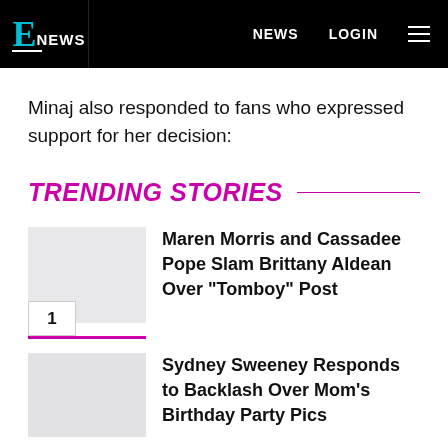E! NEWS  NEWS  LOGIN
Minaj also responded to fans who expressed support for her decision:
TRENDING STORIES
Maren Morris and Cassadee Pope Slam Brittany Aldean Over "Tomboy" Post
Sydney Sweeney Responds to Backlash Over Mom's Birthday Party Pics